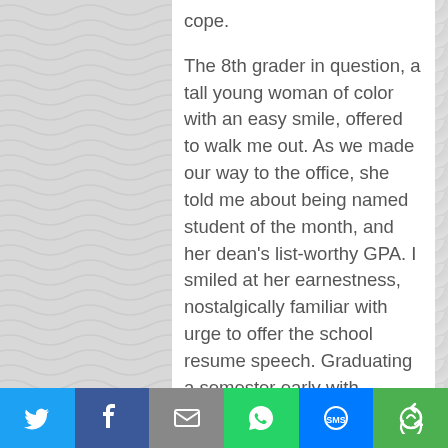cope.

The 8th grader in question, a tall young woman of color with an easy smile, offered to walk me out. As we made our way to the office, she told me about being named student of the month, and her dean's list-worthy GPA. I smiled at her earnestness, nostalgically familiar with urge to offer the school resume speech. Graduating a semester early with Honors was something I forced into conversation deep into my thirties. And I just did again. Ego still in recovery, I guess.

We chatted pleasantly, and as we neared the office she mentioned her work with
[Figure (infographic): Social media share bar with Twitter, Facebook, Email, WhatsApp, SMS, and More buttons]